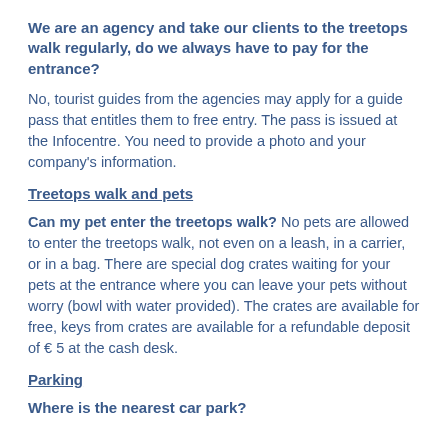We are an agency and take our clients to the treetops walk regularly, do we always have to pay for the entrance?
No, tourist guides from the agencies may apply for a guide pass that entitles them to free entry. The pass is issued at the Infocentre. You need to provide a photo and your company's information.
Treetops walk and pets
Can my pet enter the treetops walk? No pets are allowed to enter the treetops walk, not even on a leash, in a carrier, or in a bag. There are special dog crates waiting for your pets at the entrance where you can leave your pets without worry (bowl with water provided). The crates are available for free, keys from crates are available for a refundable deposit of € 5 at the cash desk.
Parking
Where is the nearest car park?